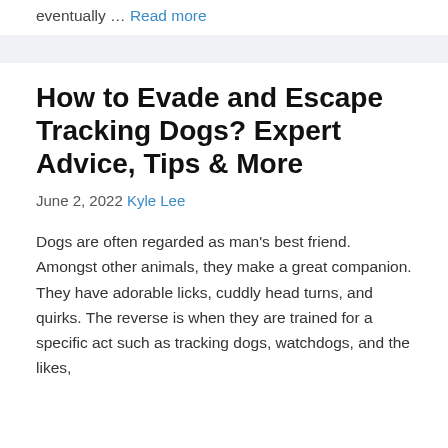eventually … Read more
How to Evade and Escape Tracking Dogs? Expert Advice, Tips & More
June 2, 2022 Kyle Lee
Dogs are often regarded as man's best friend. Amongst other animals, they make a great companion. They have adorable licks, cuddly head turns, and quirks. The reverse is when they are trained for a specific act such as tracking dogs, watchdogs, and the likes,